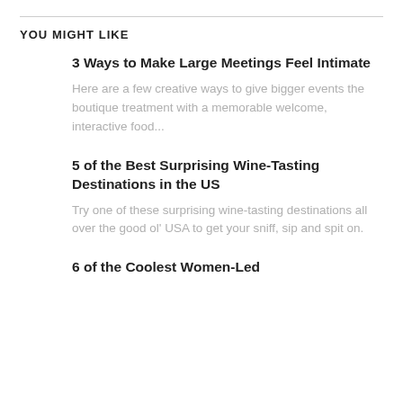YOU MIGHT LIKE
3 Ways to Make Large Meetings Feel Intimate
Here are a few creative ways to give bigger events the boutique treatment with a memorable welcome, interactive food...
5 of the Best Surprising Wine-Tasting Destinations in the US
Try one of these surprising wine-tasting destinations all over the good ol' USA to get your sniff, sip and spit on.
6 of the Coolest Women-Led